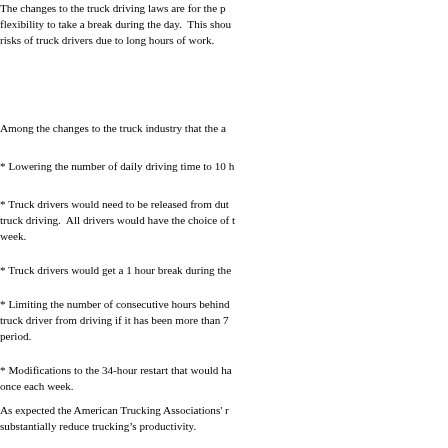The changes to the truck driving laws are for the p... flexibility to take a break during the day. This shou... risks of truck drivers due to long hours of work.
Among the changes to the truck industry that the a...
* Lowering the number of daily driving time to 10 h...
* Truck drivers would need to be released from dut... truck driving. All drivers would have the choice of t... week.
* Truck drivers would get a 1 hour break during the...
* Limiting the number of consecutive hours behind... truck driver from driving if it has been more than 7... period.
* Modifications to the 34-hour restart that would ha... once each week.
As expected the American Trucking Associations' r... substantially reduce trucking's productivity.
Hopefully both sides will work together to ensure th...
Truck Drivers should be able to get off the road wh... promote safety for truck drivers, but for all drivers o...
It will be interesting to see whether or not these t...